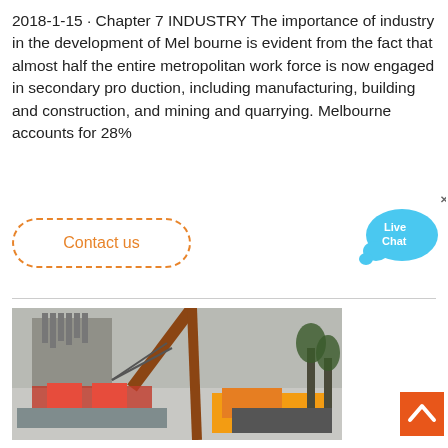2018-1-15 · Chapter 7 INDUSTRY The importance of industry in the development of Mel bourne is evident from the fact that almost half the entire metropolitan work force is now engaged in secondary pro duction, including manufacturing, building and construction, and mining and quarrying. Melbourne accounts for 28%
Contact us
[Figure (other): Live Chat bubble widget with blue speech bubble icon and 'Live Chat' text, with a close X button]
[Figure (photo): Construction site photograph showing a crane lifting heavy equipment or concrete structure, with machinery and building framework visible against an overcast sky]
[Figure (other): Orange back-to-top button with white chevron/arrow icon pointing upward]